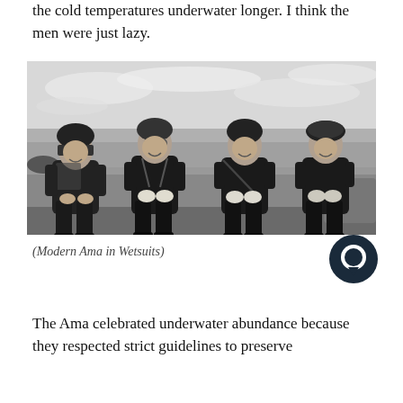the cold temperatures underwater longer. I think the men were just lazy.
[Figure (photo): Black and white photograph of four women (Ama divers) wearing wetsuits and diving gear, sitting on a low stone wall with the ocean and cloudy sky in the background.]
(Modern Ama in Wetsuits)
The Ama celebrated underwater abundance because they respected strict guidelines to preserve